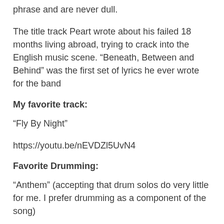phrase and are never dull.
The title track Peart wrote about his failed 18 months living abroad, trying to crack into the English music scene. “Beneath, Between and Behind” was the first set of lyrics he ever wrote for the band
My favorite track:
“Fly By Night”
https://youtu.be/nEVDZl5UvN4
Favorite Drumming:
“Anthem” (accepting that drum solos do very little for me. I prefer drumming as a component of the song)